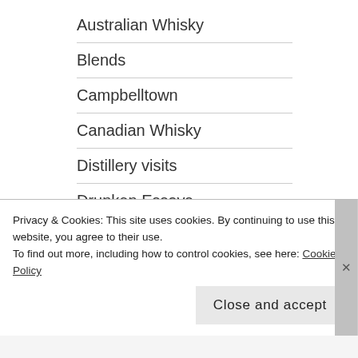Australian Whisky
Blends
Campbelltown
Canadian Whisky
Distillery visits
Drunken Essays
Highlands
Icelandic Whisky
Indian Whisky
Irish Whisky
Privacy & Cookies: This site uses cookies. By continuing to use this website, you agree to their use.
To find out more, including how to control cookies, see here: Cookie Policy
Close and accept